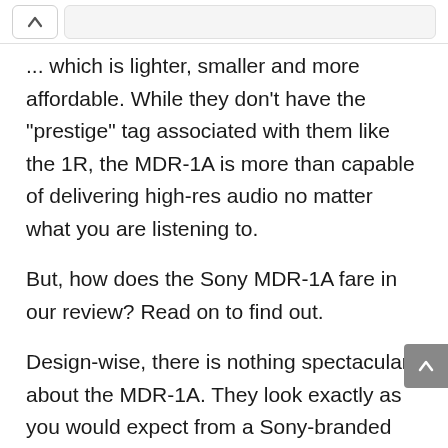... which is lighter, smaller and more affordable. While they don't have the "prestige" tag associated with them like the 1R, the MDR-1A is more than capable of delivering high-res audio no matter what you are listening to.
But, how does the Sony MDR-1A fare in our review? Read on to find out.
Design-wise, there is nothing spectacular about the MDR-1A. They look exactly as you would expect from a Sony-branded headphone at this price point. The metallic exterior and large ear cups manage to give it an attractive and chiseled appearance